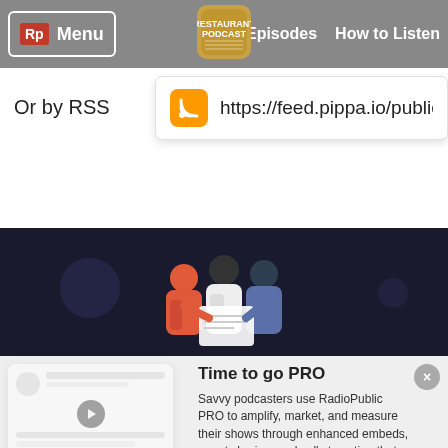Rp Menu | Episodes | How to Listen
Or by RSS
https://feed.pippa.io/public/show
[Figure (illustration): Three people looking at a document together, illustrated in a dark navy background]
Time to go PRO
Savvy podcasters use RadioPublic PRO to amplify, market, and measure their shows through enhanced embeds, smart sharing, and calls to action that convert.
Get started